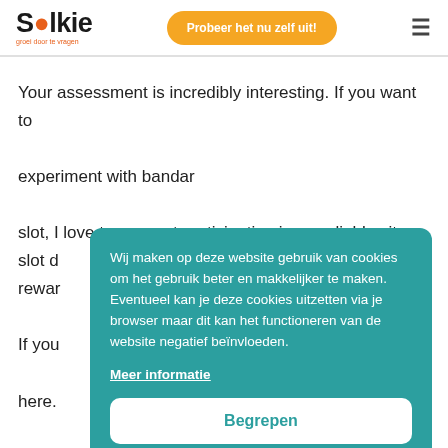Solkie — groei door te vragen | Probeer het nu zelf uit!
Your assessment is incredibly interesting. If you want to experiment with bandar

slot, I love to suggest participating in on reliable situs slot d[...] rewar[...]

If you [...] here.

The w[...] that is[...] player[...]
Wij maken op deze website gebruik van cookies om het gebruik beter en makkelijker te maken. Eventueel kan je deze cookies uitzetten via je browser maar dit kan het functioneren van de website negatief beïnvloeden.

Meer informatie

Begrepen